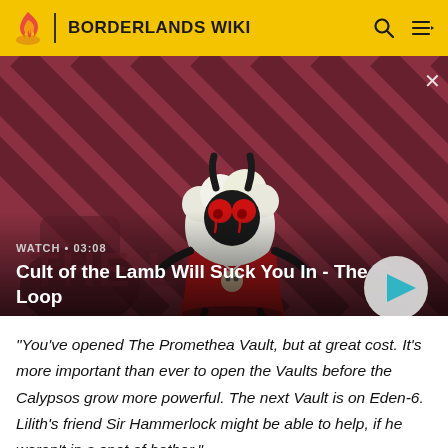BORDERLANDS WIKI
[Figure (screenshot): Video thumbnail showing a cartoon lamb character from Cult of the Lamb game, on a red and dark diagonal striped background. Overlay shows WATCH • 03:08 label and video title. A circular play button is visible on the right.]
"You've opened The Promethea Vault, but at great cost. It's more important than ever to open the Vaults before the Calypsos grow more powerful. The next Vault is on Eden-6. Lilith's friend Sir Hammerlock might be able to help, if he weren't in a spot of bother."